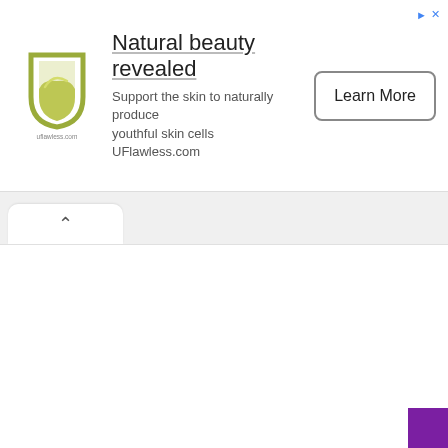[Figure (logo): UFlawless.com logo — stylized U shape in olive/yellow-green with a leaf/liquid fill]
Natural beauty revealed
Support the skin to naturally produce youthful skin cells UFlawless.com
Learn More
▲